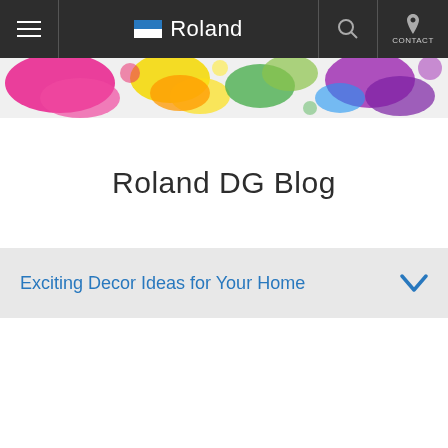Roland DG — Navigation bar with hamburger menu, Roland logo, search, and contact
[Figure (photo): Colorful ink or paint splatter banner image strip in pink, yellow, orange, purple, and green hues]
Roland DG Blog
Exciting Decor Ideas for Your Home